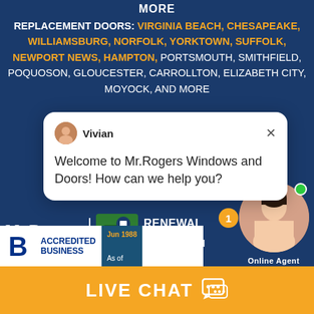MORE
REPLACEMENT DOORS: VIRGINIA BEACH, CHESAPEAKE, WILLIAMSBURG, NORFOLK, YORKTOWN, SUFFOLK, NEWPORT NEWS, HAMPTON, PORTSMOUTH, SMITHFIELD, POQUOSON, GLOUCESTER, CARROLLTON, ELIZABETH CITY, MOYOCK, AND MORE
[Figure (screenshot): Chat popup from Vivian: Welcome to Mr.Rogers Windows and Doors! How can we help you?]
[Figure (logo): Mr. Rogers Windows and Doors logo with Renewal by Andersen logo]
[Figure (photo): BBB Accredited Business badge with Since Jun 1988, As of 08/28/22]
[Figure (photo): Online Agent female avatar with green dot indicator]
LIVE CHAT